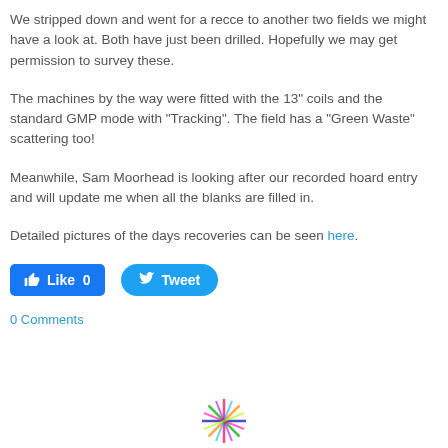We stripped down and went for a recce to another two fields we might have a look at. Both have just been drilled. Hopefully we may get permission to survey these.
The machines by the way were fitted with the 13" coils and the standard GMP mode with "Tracking". The field has a "Green Waste" scattering too!
Meanwhile, Sam Moorhead is looking after our recorded hoard entry and will update me when all the blanks are filled in.
Detailed pictures of the days recoveries can be seen here.
[Figure (other): Facebook Like button (blue, count 0) and Twitter Tweet button (blue rounded)]
0 Comments
[Figure (logo): Starburst/pinwheel logo at bottom center of page]